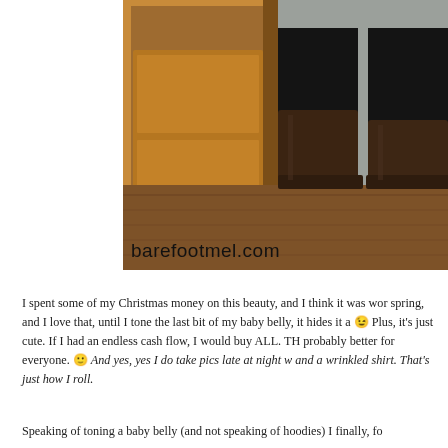[Figure (photo): Photo showing lower half of a person wearing black leggings and tall dark brown leather riding boots, standing in front of a wooden door on a hardwood floor. Watermark 'barefootmel.com' visible at bottom left of image.]
I spent some of my Christmas money on this beauty, and I think it was wor spring, and I love that, until I tone the last bit of my baby belly, it hides it a 😉 Plus, it's just cute. If I had an endless cash flow, I would buy ALL. TH probably better for everyone. 🙂 And yes, yes I do take pics late at night w and a wrinkled shirt. That's just how I roll.
Speaking of toning a baby belly (and not speaking of hoodies) I finally, fo